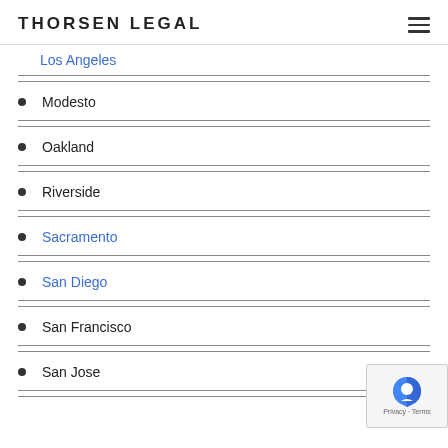THORSEN LEGAL
Los Angeles
Modesto
Oakland
Riverside
Sacramento
San Diego
San Francisco
San Jose